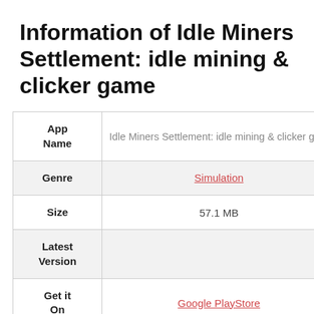Information of Idle Miners Settlement: idle mining & clicker game
|  |  |
| --- | --- |
| App Name | Idle Miners Settlement: idle mining & clicker game |
| Genre | Simulation |
| Size | 57.1 MB |
| Latest Version |  |
| Get it On | Google PlayStore |